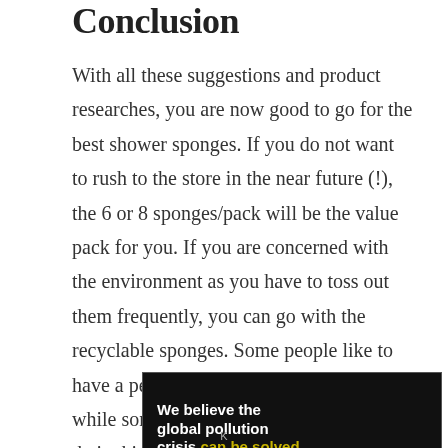Conclusion
With all these suggestions and product researches, you are now good to go for the best shower sponges. If you do not want to rush to the store in the near future (!), the 6 or 8 sponges/pack will be the value pack for you. If you are concerned with the environment as you have to toss out them frequently, you can go with the recyclable sponges. Some people like to have a petal like softness while cleaning it while some others would like to rub off their skin for
[Figure (infographic): Advertisement banner for Pure Earth. Black background on left two-thirds with text: 'We believe the global pollution crisis can be solved.' in white and yellow. Right side white background with Pure Earth diamond logo and bold text 'PURE EARTH'. Middle section: 'In a world where pollution doesn't stop at borders, we can all be part of the solution. JOIN US.']
K